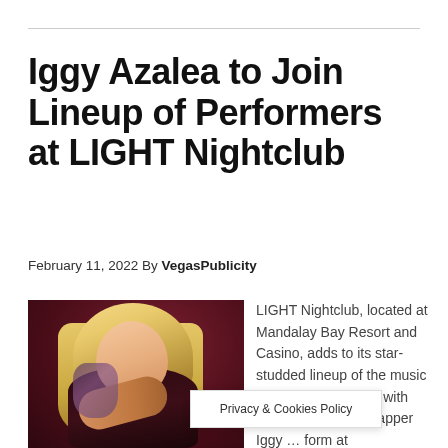Iggy Azalea to Join Lineup of Performers at LIGHT Nightclub
February 11, 2022 By VegasPublicity
[Figure (photo): Photo of Iggy Azalea, a blonde woman in a dark outfit posing against a dark red background]
LIGHT Nightclub, located at Mandalay Bay Resort and Casino, adds to its star-studded lineup of the music industry's top artists with Billboard Music … rapper Iggy … form at
Privacy & Cookies Policy